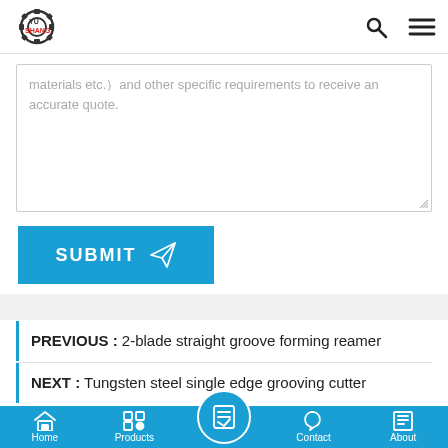YU SHANG logo with navigation search and menu icons
materials etc.) and other specific requirements to receive an accurate quote.
SUBMIT
PREVIOUS : 2-blade straight groove forming reamer
NEXT : Tungsten steel single edge grooving cutter
CATEGORIES
Home | Products | Contact | About